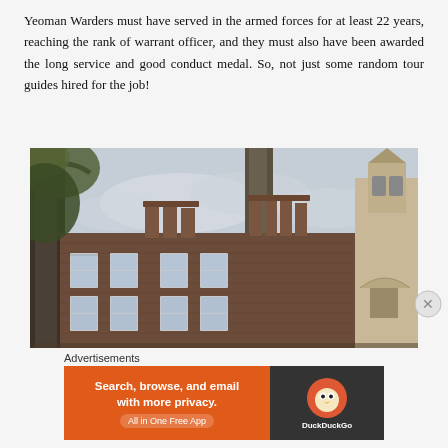Yeoman Warders must have served in the armed forces for at least 22 years, reaching the rank of warrant officer, and they must also have been awarded the long service and good conduct medal. So, not just some random tour guides hired for the job!
[Figure (photo): Photograph of historic brick buildings inside the Tower of London complex, showing chimneys, sash windows, a stone church tower with a bell turret, and a bare tree trunk in the foreground against an overcast sky.]
Advertisements
[Figure (screenshot): DuckDuckGo advertisement banner. Left side orange background with bold white text: 'Search, browse, and email with more privacy. All in One Free App'. Right side dark background with DuckDuckGo logo and brand name.]